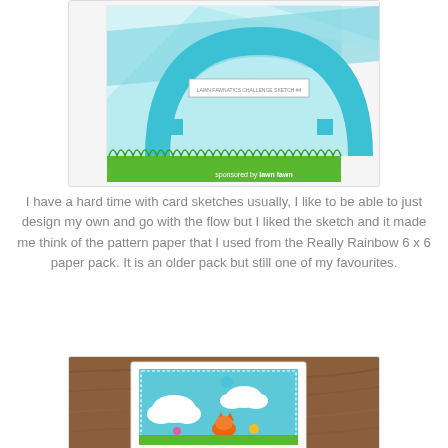[Figure (illustration): A card sketch challenge image showing a teal/cyan rainbow arch design on white card with diagonal striped pattern paper, green grass border at bottom, and text 'sponsored by lawn fawn']
I have a hard time with card sketches usually, I like to be able to just design my own and go with the flow but I liked the sketch and it made me think of the pattern paper that I used from the Really Rainbow 6 x 6 paper pack. It is an older pack but still one of my favourites.
[Figure (photo): Photo of a handmade card on a wooden surface featuring a bunny/fox character with clouds on a teal background, placed on white layered card stock]